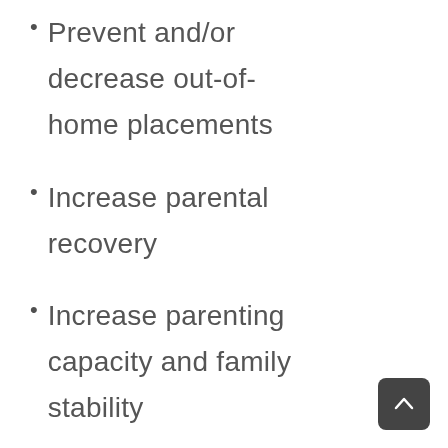Prevent and/or decrease out-of-home placements
Increase parental recovery
Increase parenting capacity and family stability